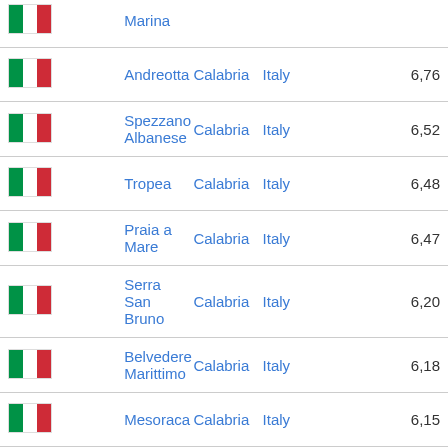| Flag | Name | Region | Country | Score |
| --- | --- | --- | --- | --- |
| [IT flag] | Marina |  |  |  |
| [IT flag] | Andreotta | Calabria | Italy | 6,76 |
| [IT flag] | Spezzano Albanese | Calabria | Italy | 6,52 |
| [IT flag] | Tropea | Calabria | Italy | 6,48 |
| [IT flag] | Praia a Mare | Calabria | Italy | 6,47 |
| [IT flag] | Serra San Bruno | Calabria | Italy | 6,20 |
| [IT flag] | Belvedere Marittimo | Calabria | Italy | 6,18 |
| [IT flag] | Mesoraca | Calabria | Italy | 6,15 |